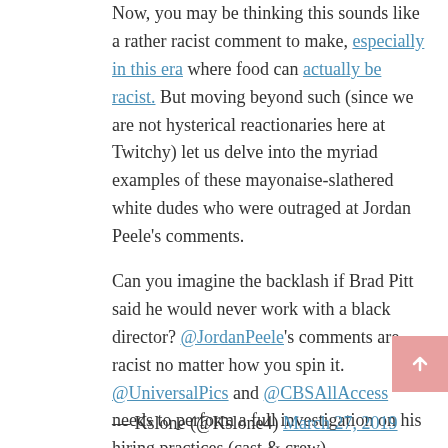Now, you may be thinking this sounds like a rather racist comment to make, especially in this era where food can actually be racist. But moving beyond such (since we are not hysterical reactionaries here at Twitchy) let us delve into the myriad examples of these mayonaise-slathered white dudes who were outraged at Jordan Peele's comments.
Can you imagine the backlash if Brad Pitt said he would never work with a black director? @JordanPeele's comments are racist no matter how you spin it. @UniversalPics and @CBSAllAccess needs to perform a full investigation on his hiring practices (cast & crew).
— Kslone (@Kslone4) March 27, 2019